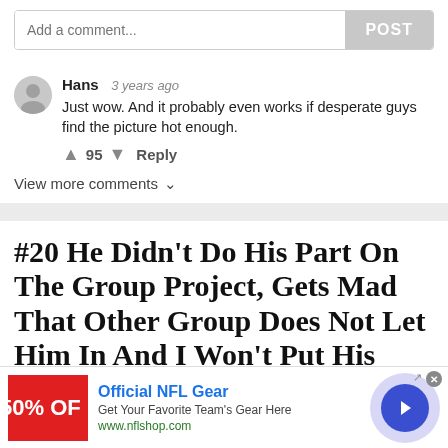Add a comment...
POST
Hans  3 years ago
Just wow. And it probably even works if desperate guys find the picture hot enough.
↑ 95 ↓ Reply
View more comments ∨
#20 He Didn't Do His Part On The Group Project, Gets Mad That Other Group Does Not Let Him In And I Won't Put His Name On The Paper (I
[Figure (screenshot): Advertisement banner: Official NFL Gear, 50% OFF, Get Your Favorite Team's Gear Here, www.nflshop.com]